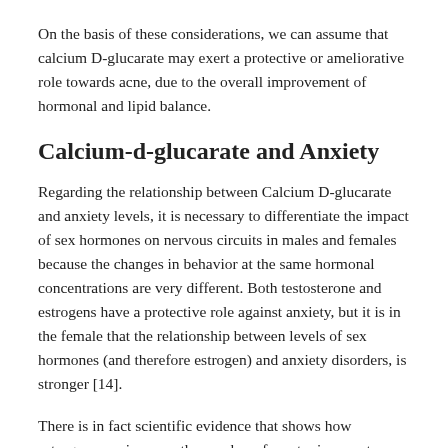On the basis of these considerations, we can assume that calcium D-glucarate may exert a protective or ameliorative role towards acne, due to the overall improvement of hormonal and lipid balance.
Calcium-d-glucarate and Anxiety
Regarding the relationship between Calcium D-glucarate and anxiety levels, it is necessary to differentiate the impact of sex hormones on nervous circuits in males and females because the changes in behavior at the same hormonal concentrations are very different. Both testosterone and estrogens have a protective role against anxiety, but it is in the female that the relationship between levels of sex hormones (and therefore estrogen) and anxiety disorders, is stronger [14].
There is in fact scientific evidence that shows how estrogens can increase the number of serotonin receptors, as well as its synthesis in the brain.